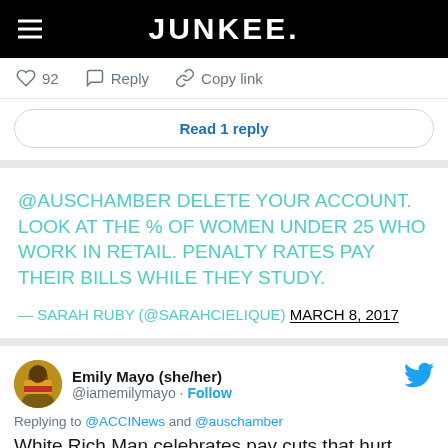JUNKEE.
92  Reply  Copy link
Read 1 reply
@AUSCHAMBER DELETE YOUR ACCOUNT. LOOK AT THE % OF WOMEN UNDER 25 WHO WORK IN RETAIL. PENALTY RATES PAY THEIR BILLS WHILE THEY STUDY.
— SARAH RUBY (@SARAHCIELIQUE) MARCH 8, 2017
Emily Mayo (she/her) @iamemilymayo · Follow
Replying to @ACCINews and @auschamber
White Rich Man celebrates pay cuts that hurt